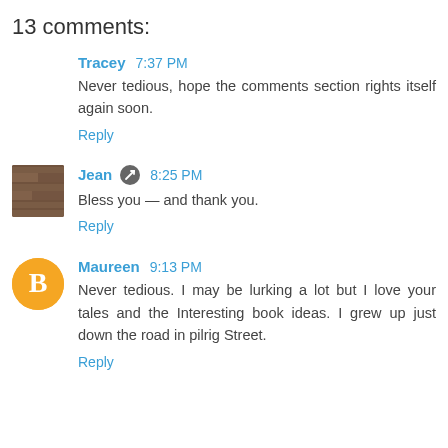13 comments:
Tracey 7:37 PM
Never tedious, hope the comments section rights itself again soon.
Reply
Jean 8:25 PM
Bless you — and thank you.
Reply
Maureen 9:13 PM
Never tedious. I may be lurking a lot but I love your tales and the Interesting book ideas. I grew up just down the road in pilrig Street.
Reply